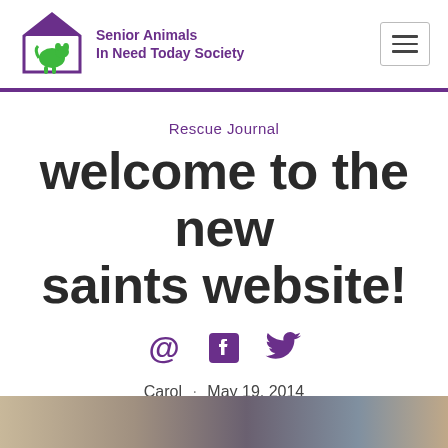[Figure (logo): Senior Animals In Need Today Society logo — house silhouette in purple with green animal silhouette inside, next to text reading 'Senior Animals In Need Today Society' in purple]
Rescue Journal
welcome to the new saints website!
[Figure (infographic): Three social media icons in purple: @ symbol, Facebook logo, Twitter bird logo]
Carol · May 19, 2014
[Figure (photo): Partial photo visible at bottom of page showing a room interior with blurred figures]